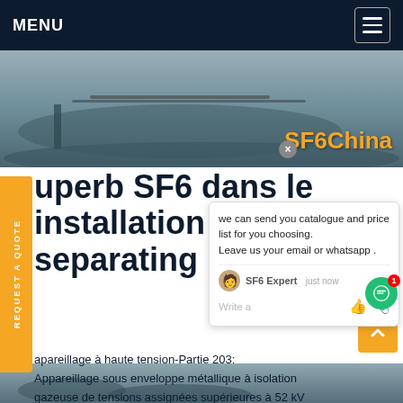MENU
[Figure (photo): Outdoor electrical equipment installation in winter/snowy conditions, with SF6China watermark overlay]
uperb SF6 dans le installation GIS separating unit
we can send you catalogue and price list for you choosing. Leave us your email or whatsapp . SF6 Expert just now Write a
apareillage à haute tension-Partie 203: Appareillage sous enveloppe métallique à isolation gazeuse de tensions assignées supérieures à 52 kV High-voltage switchgear and controlgear-Part 203: Gas-insulated metal-enclosed swithgear for rated voltagesGet price
[Figure (photo): Bottom image strip showing electrical equipment]